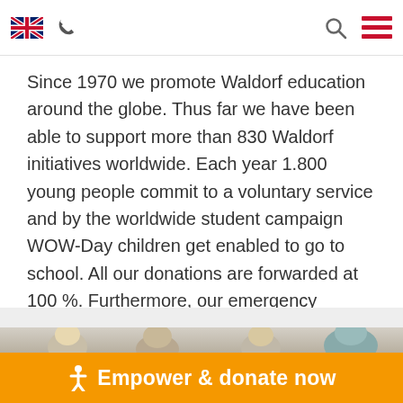[UK flag] [phone icon] [search icon] [menu icon]
Since 1970 we promote Waldorf education around the globe. Thus far we have been able to support more than 830 Waldorf initiatives worldwide. Each year 1.800 young people commit to a voluntary service and by the worldwide student campaign WOW-Day children get enabled to go to school. All our donations are forwarded at 100 %. Furthermore, our emergency education program conducts urgently needed rehabilitation campaigns in many conflict areas.
[Figure (photo): Children sitting in a classroom viewed from behind, heads visible]
Empower & donate now